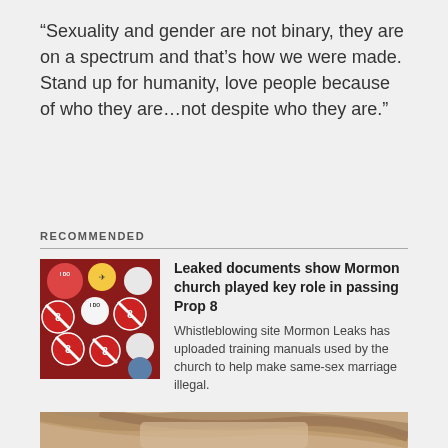“Sexuality and gender are not binary, they are on a spectrum and that’s how we were made. Stand up for humanity, love people because of who they are…not despite who they are.”
RECOMMENDED
[Figure (photo): Photo of various political campaign buttons/badges including Prop 8 opposition badges with a red crossed-out 8 symbol and 'I DO' text]
Leaked documents show Mormon church played key role in passing Prop 8
Whistleblowing site Mormon Leaks has uploaded training manuals used by the church to help make same-sex marriage illegal.
[Figure (photo): Close-up photograph of a young person's face with long light brown/blonde hair, showing eyes and eyebrow area]